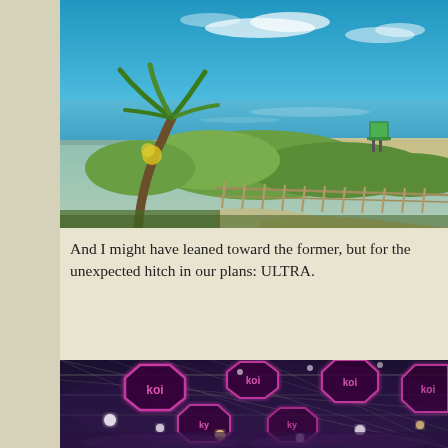[Figure (photo): Tropical beach scene with palm trees, sandy path, wooden fence, green vegetation, turquoise ocean water, blue sky with light clouds, and a small green lifeguard tower in the background.]
And I might have leaned toward the former, but for the unexpected hitch in our plans: ULTRA.
[Figure (photo): Interior of a large event venue or music festival tent with metal truss framework on the ceiling, pink and purple neon illuminated octagonal signs displaying logos, bright stage lights, and crowds below.]